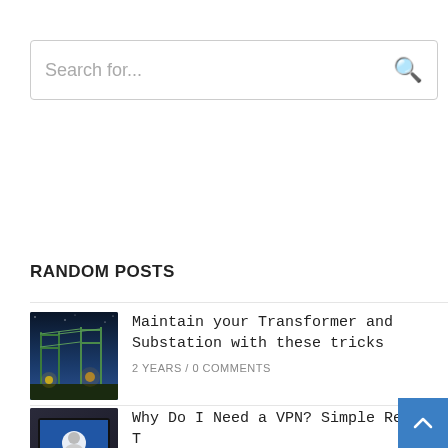Search for...
RANDOM POSTS
[Figure (photo): Electrical transformer and substation at night with blue sky background]
Maintain your Transformer and Substation with these tricks
2 YEARS / 0 COMMENTS
[Figure (photo): Laptop or tablet screen, partially visible]
Why Do I Need a VPN? Simple Reasons T